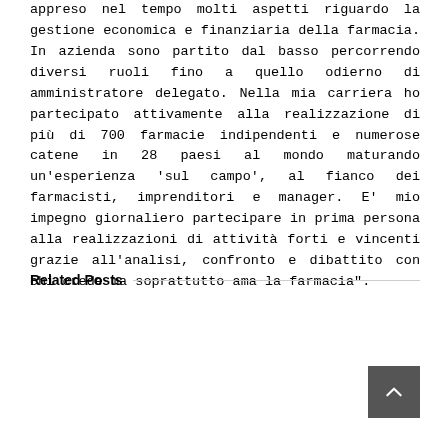appreso nel tempo molti aspetti riguardo la gestione economica e finanziaria della farmacia. In azienda sono partito dal basso percorrendo diversi ruoli fino a quello odierno di amministratore delegato. Nella mia carriera ho partecipato attivamente alla realizzazione di più di 700 farmacie indipendenti e numerose catene in 28 paesi al mondo maturando un'esperienza 'sul campo', al fianco dei farmacisti, imprenditori e manager. E' mio impegno giornaliero partecipare in prima persona alla realizzazioni di attività forti e vincenti grazie all'analisi, confronto e dibattito con chi crede ma soprattutto ama la farmacia".
Related Posts